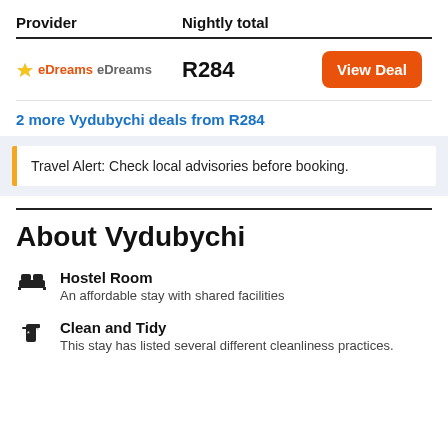| Provider | Nightly total |  |
| --- | --- | --- |
| eDreams | R284 | View Deal |
2 more Vydubychi deals from R284
Travel Alert: Check local advisories before booking.
About Vydubychi
Hostel Room
An affordable stay with shared facilities
Clean and Tidy
This stay has listed several different cleanliness practices.